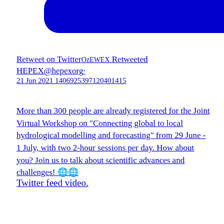[Figure (illustration): Partial view of blue Twitter bird logo / social media icon — blue rounded rectangle shape on left and blue downward-pointing chevron/arrow shape on right, cropped at top of page]
Retweet on TwitterOzEWEX Retweeted
HEPEX@hepexorg·
21 Jun 2021 1406925397120401415
More than 300 people are already registered for the Joint Virtual Workshop on "Connecting global to local hydrological modelling and forecasting" from 29 June - 1 July, with two 2-hour sessions per day. How about you? Join us to talk about scientific advances and challenges! 🌐🌐
Twitter feed video.